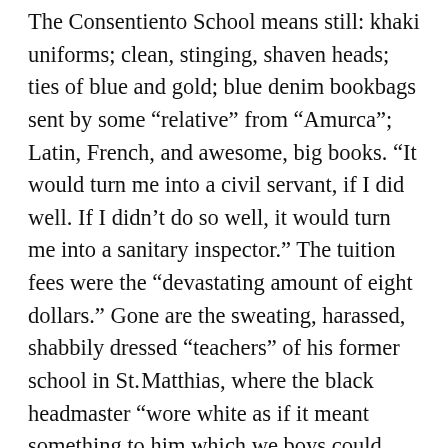The Consentiento School means still: khaki uniforms; clean, stinging, shaven heads; ties of blue and gold; blue denim bookbags sent by some “relative” from “Amurca”; Latin, French, and awesome, big books. “It would turn me into a civil servant, if I did well. If I didn’t do so well, it would turn me into a sanitary inspector.” The tuition fees were the “devastating amount of eight dollars.” Gone are the sweating, harassed, shabbily dressed “teachers” of his former school in St. Matthias, where the black headmaster “wore white as if it meant something to him which we boys could never aspire to; and he wore a tie that had no tropical colour in it.” This headmaster inspected their necks and fingernails. He made them sing hymns or “Rule Britannia” as he flogged the unlucky with a strap that was rumored to have been soaked in pee